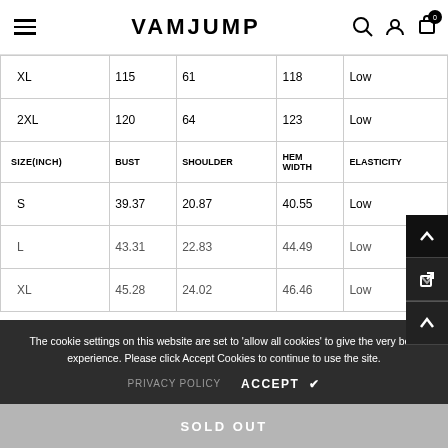VAMJUMP
| SIZE(CM) | BUST | SHOULDER | HEM WIDTH | ELASTICITY |
| --- | --- | --- | --- | --- |
| XL | 115 | 61 | 118 | Low |
| 2XL | 120 | 64 | 123 | Low |
| SIZE(INCH) | BUST | SHOULDER | HEM WIDTH | ELASTICITY |
| --- | --- | --- | --- | --- |
| S | 39.37 | 20.87 | 40.55 | Low |
| L | 43.31 | 22.83 | 44.49 | Low |
| XL | 45.28 | 24.02 | 46.46 | Low |
The cookie settings on this website are set to 'allow all cookies' to give the very best experience. Please click Accept Cookies to continue to use the site.
SOLD OUT